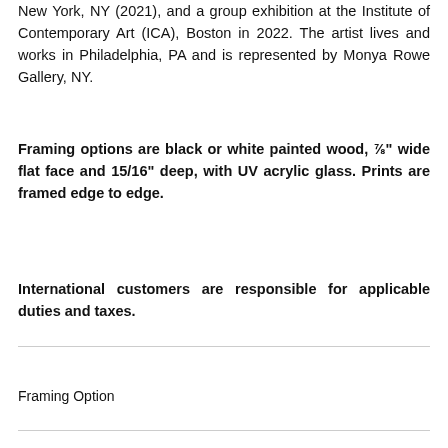New York, NY (2021), and a group exhibition at the Institute of Contemporary Art (ICA), Boston in 2022. The artist lives and works in Philadelphia, PA and is represented by Monya Rowe Gallery, NY.
Framing options are black or white painted wood, ⅞" wide flat face and 15/16" deep, with UV acrylic glass. Prints are framed edge to edge.
International customers are responsible for applicable duties and taxes.
Framing Option